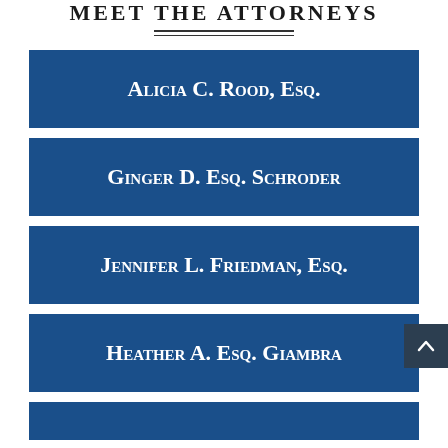MEET THE ATTORNEYS
Alicia C. Rood, Esq.
Ginger D. Esq. Schroder
Jennifer L. Friedman, Esq.
Heather A. Esq. Giambra